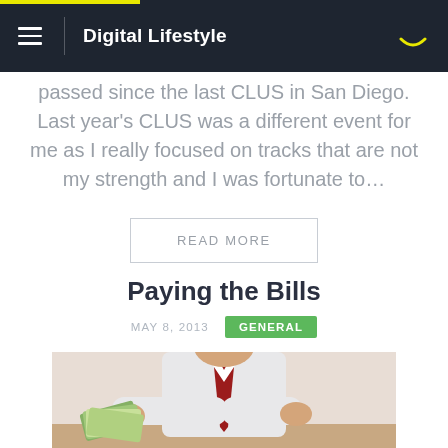Digital Lifestyle
passed since the last CLUS in San Diego. Last year's CLUS was a different event for me as I really focused on tracks that are not my strength and I was fortunate to…
READ MORE
Paying the Bills
MAY 8, 2013   GENERAL
[Figure (photo): A man in a white shirt and red tie holding out a fan of cash bills]